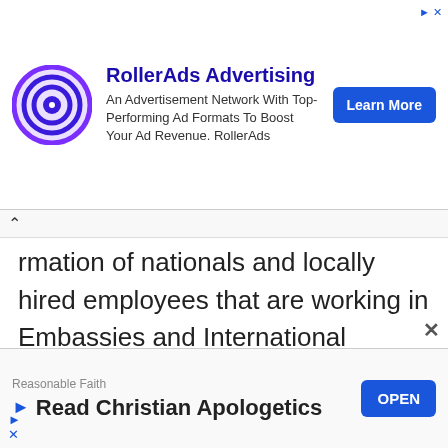[Figure (screenshot): RollerAds Advertising banner ad at top of page with circular logo, ad text, and Learn More button]
rmation of nationals and locally hired employees that are working in Embassies and International Organizations, so that MRA can enforce this tax law and collect taxes. In this regard, Government would like to appeal to Heads of Diplomatic Missions and Embassies including
[Figure (screenshot): Bottom advertisement banner: Reasonable Faith - Read Christian Apologetics with OPEN button]